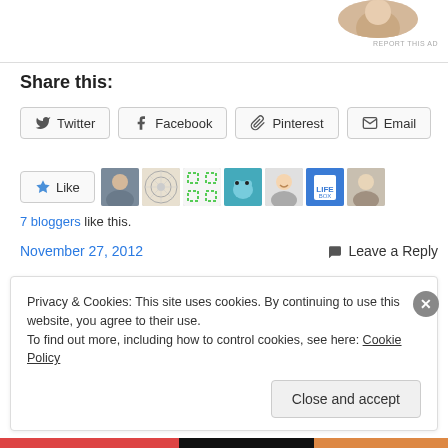[Figure (photo): Partial circular cropped photo of person at top right]
REPORT THIS AD
Share this:
Twitter  Facebook  Pinterest  Email
[Figure (infographic): Like button with star icon followed by 7 blogger avatar thumbnails]
7 bloggers like this.
November 27, 2012
Leave a Reply
Privacy & Cookies: This site uses cookies. By continuing to use this website, you agree to their use.
To find out more, including how to control cookies, see here: Cookie Policy
Close and accept